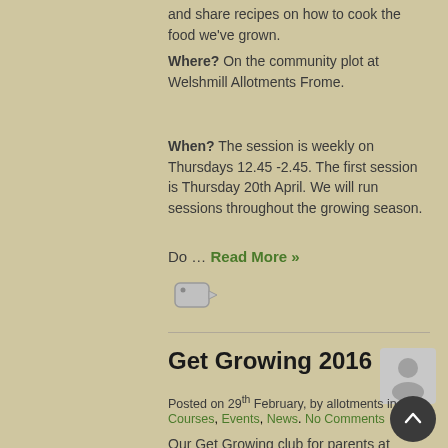and share recipes on how to cook the food we've grown. Where? On the community plot at Welshmill Allotments Frome.
When? The session is weekly on Thursdays 12.45 -2.45. The first session is Thursday 20th April. We will run sessions throughout the growing season.
Do … Read More »
[Figure (illustration): Tag/label icon]
Get Growing 2016
[Figure (illustration): User avatar placeholder (grey silhouette)]
Posted on 29th February, by allotments in
Courses, Events, News. No Comments
Our Get Growing club for parents at Vallis and St Louis schools at Welshmill allotments starts on Thursday March 17th. Parents can pick up a